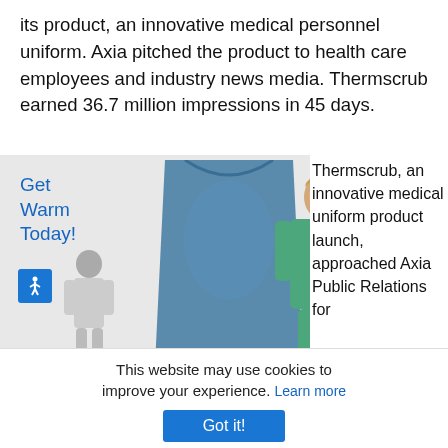its product, an innovative medical personnel uniform. Axia pitched the product to health care employees and industry news media. Thermscrub earned 36.7 million impressions in 45 days.
[Figure (photo): Advertisement image for Thermscrub medical uniform. Shows a smiling woman in teal scrubs holding up a blue uniform top. Handwritten-style text reads 'Get Warm Today!' with an accessibility icon and a person shivering in the bottom-left corner.]
Thermscrub, an innovative medical uniform product launch, approached Axia Public Relations for help promoting its product nationwide without
help promoting its product nationwide without
This website may use cookies to improve your experience. Learn more
Got it!